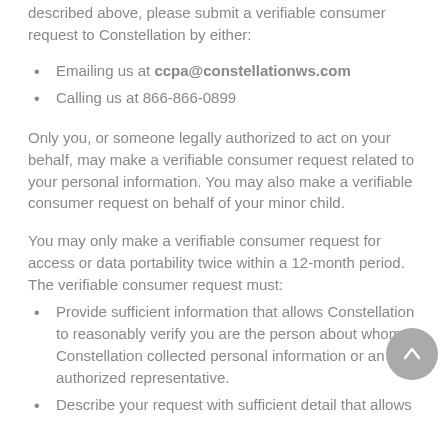described above, please submit a verifiable consumer request to Constellation by either:
Emailing us at ccpa@constellationws.com
Calling us at 866-866-0899
Only you, or someone legally authorized to act on your behalf, may make a verifiable consumer request related to your personal information. You may also make a verifiable consumer request on behalf of your minor child.
You may only make a verifiable consumer request for access or data portability twice within a 12-month period. The verifiable consumer request must:
Provide sufficient information that allows Constellation to reasonably verify you are the person about whom Constellation collected personal information or an authorized representative.
Describe your request with sufficient detail that allows